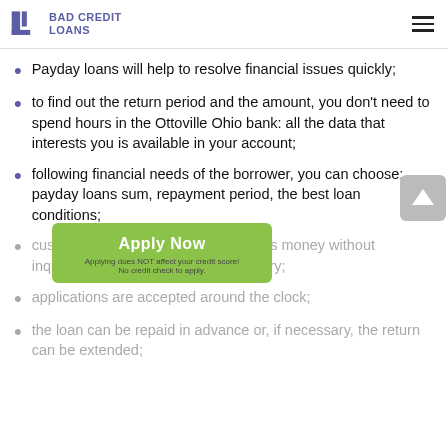Bad Credit Loans
Payday loans will help to resolve financial issues quickly;
to find out the return period and the amount, you don't need to spend hours in the Ottoville Ohio bank: all the data that interests you is available in your account;
following financial needs of the borrower, you can choose: payday loans sum, repayment period, the best loan conditions;
customers receive Fast Payday Loans money without inquiries, even with a bad credit history;
applications are accepted around the clock;
the loan can be repaid in advance or, if necessary, the return can be extended;
[Figure (other): Apply Now button overlay with green background, text 'Apply Now', subtext 'Applying does NOT affect your credit score!' and 'No credit check to apply.']